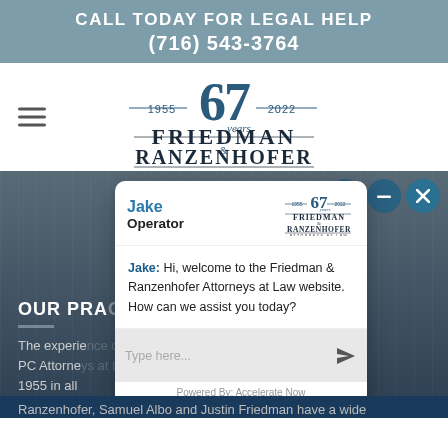CALL TODAY FOR LEGAL HELP
(716) 543-3764
[Figure (logo): Friedman & Ranzenhofer Attorneys at Law logo with '67 years 1955-2022' badge]
[Figure (screenshot): Website chat widget overlay showing operator Jake from Friedman & Ranzenhofer, with welcome message and type-here input box. Icons for menu, minimize, and close visible. Background shows dark blue section with 'OUR PRA...' section header.]
Jake: Hi, welcome to the Friedman & Ranzenhofer Attorneys at Law website. How can we assist you today?
OUR PRA...
The experie nzenhofer, PC Attorne nts since 1955 in all
Ranzenhofer, Samuel Albo and Justin Friedman have a wide